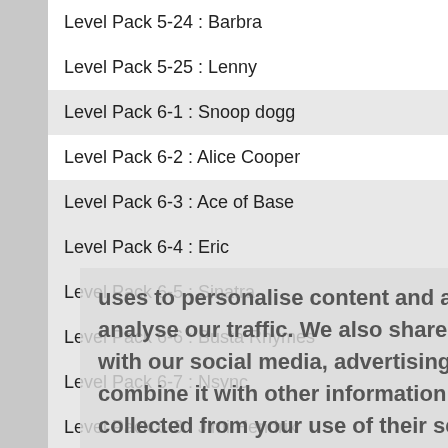Level Pack 5-24 : Barbra
Level Pack 5-25 : Lenny
Level Pack 6-1 : Snoop dogg
Level Pack 6-2 : Alice Cooper
Level Pack 6-3 : Ace of Base
Level Pack 6-4 : Eric
Level Pack 6-5 : Sinatra
Level Pack 6-6 : Busta Rhymes
Level Pack 6-7 : Nsync
Level Pack 6-8 : Jimi Hendrix
Level Pack 6-9 : Sinead
Level Pack 6-10 : Andrea Bocelli
Level Pack 6-11 : Cheryl
Level Pack 6-12 : Elvis
Level Pack 6-13 : Robbie
Level Pack 6-14 : Chris
uses to personalise content and adverts, social media features and to analyse our traffic. We also share information about your use of our site with our social media, advertising and analytics partners who may combine it with other information you've provided to them or they've collected from your use of their services. Learn more
Got it!